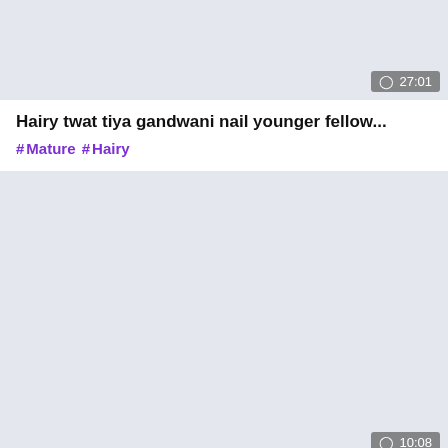[Figure (other): Video thumbnail placeholder, light gray background with duration badge showing 27:01]
Hairy twat tiya gandwani nail younger fellow...
#Mature #Hairy
[Figure (other): Video thumbnail placeholder, light gray background with duration badge showing 10:08]
Youthfull fellow and tanzania redwad Mommy.Two
#Mature #Couple